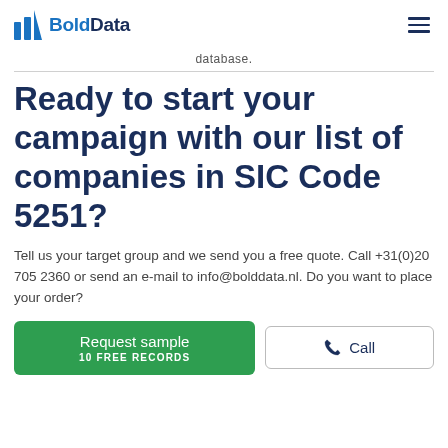BoldData
database.
Ready to start your campaign with our list of companies in SIC Code 5251?
Tell us your target group and we send you a free quote. Call +31(0)20 705 2360 or send an e-mail to info@bolddata.nl. Do you want to place your order?
Request sample
10 FREE RECORDS
Call